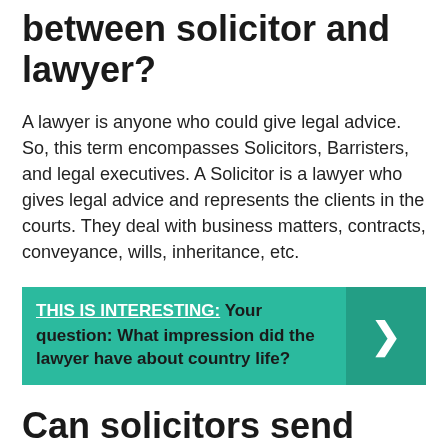between solicitor and lawyer?
A lawyer is anyone who could give legal advice. So, this term encompasses Solicitors, Barristers, and legal executives. A Solicitor is a lawyer who gives legal advice and represents the clients in the courts. They deal with business matters, contracts, conveyance, wills, inheritance, etc.
[Figure (infographic): Teal banner with 'THIS IS INTERESTING:' label in white underlined bold, followed by bold text 'Your question: What impression did the lawyer have about country life?' and a right-arrow chevron on a darker teal background panel on the right.]
Can solicitors send threatening letters?